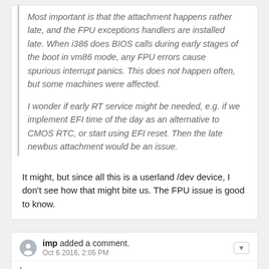Most important is that the attachment happens rather late, and the FPU exceptions handlers are installed late. When i386 does BIOS calls during early stages of the boot in vm86 mode, any FPU errors cause spurious interrupt panics. This does not happen often, but some machines were affected.

I wonder if early RT service might be needed, e.g. if we implement EFI time of the day as an alternative to CMOS RTC, or start using EFI reset. Then the late newbus attachment would be an issue.
It might, but since all this is a userland /dev device, I don't see how that might bite us. The FPU issue is good to know.
imp added a comment. Oct 6 2016, 2:05 PM
In D8128#168756, @imp wrote:
In D8128#168755, @kib wrote:
In D8128#168541, @imp wrote:
Still contemplating the newbus thing.